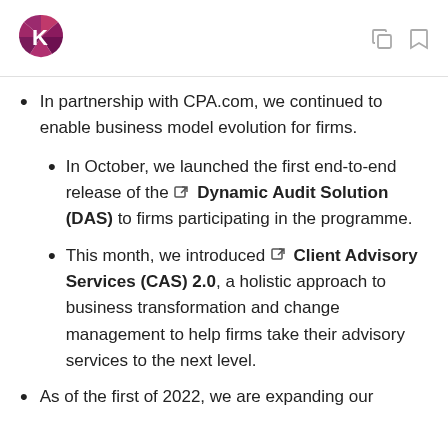[Figure (logo): AICPA logo — circular magenta/purple segmented circle with a white K shape inside]
In partnership with CPA.com, we continued to enable business model evolution for firms.
In October, we launched the first end-to-end release of the ⧉ Dynamic Audit Solution (DAS) to firms participating in the programme.
This month, we introduced ⧉ Client Advisory Services (CAS) 2.0, a holistic approach to business transformation and change management to help firms take their advisory services to the next level.
As of the first of 2022, we are expanding our